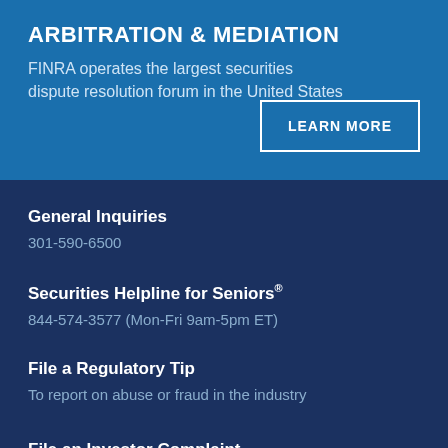ARBITRATION & MEDIATION
FINRA operates the largest securities dispute resolution forum in the United States
LEARN MORE
General Inquiries
301-590-6500
Securities Helpline for Seniors®
844-574-3577 (Mon-Fri 9am-5pm ET)
File a Regulatory Tip
To report on abuse or fraud in the industry
File an Investor Complaint